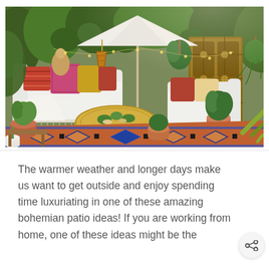[Figure (photo): A bohemian outdoor patio/garden seating area with white sofas covered in colorful patterned pillows (reds, oranges, blues), a round brass/gold Moroccan-style coffee table with succulents, a white umbrella, ornate wooden carved screens in the background, lush green plants and ivy, terracotta pots, and a vibrant orange and blue kilim/Persian rug on the ground.]
The warmer weather and longer days make us want to get outside and enjoy spending time luxuriating in one of these amazing bohemian patio ideas! If you are working from home, one of these ideas might be the